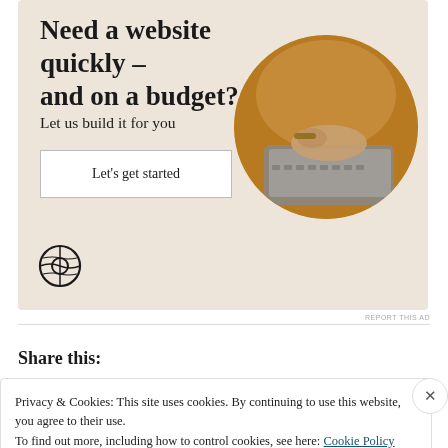[Figure (infographic): WordPress advertisement banner with beige/cream background. Text reads 'Need a website quickly – and on a budget?' with subtitle 'Let us build it for you', a 'Let's get started' button, WordPress logo, and circular photo of person's hands on a laptop.]
REPORT THIS AD
Share this:
Privacy & Cookies: This site uses cookies. By continuing to use this website, you agree to their use.
To find out more, including how to control cookies, see here: Cookie Policy
Close and accept